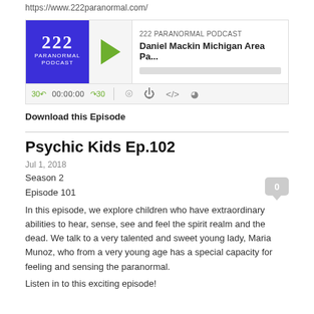https://www.222paranormal.com/
[Figure (other): 222 Paranormal Podcast audio player widget showing logo, play button, episode title 'Daniel Mackin Michigan Area Pa...' and playback controls]
Download this Episode
Psychic Kids Ep.102
Jul 1, 2018
Season 2
Episode 101
In this episode, we explore children who have extraordinary abilities to hear, sense, see and feel the spirit realm and the dead. We talk to a very talented and sweet young lady, Maria Munoz, who from a very young age has a special capacity for feeling and sensing the paranormal.
Listen in to this exciting episode!